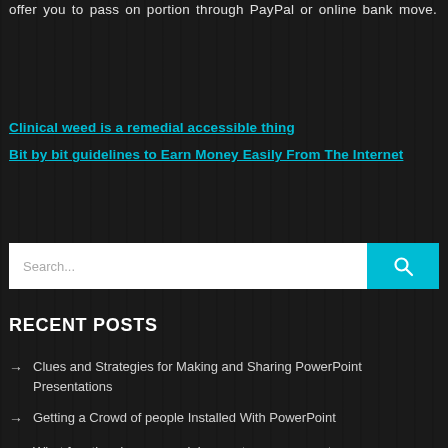offer you to pass on portion through PayPal or online bank move.
Clinical weed is a remedial accessible thing
Bit by bit guidelines to Earn Money Easily From The Internet
[Figure (other): Search bar with white input field and teal search button with magnifying glass icon]
RECENT POSTS
Clues and Strategies for Making and Sharing PowerPoint Presentations
Getting a Crowd of people Installed With PowerPoint
What function do commercial property management